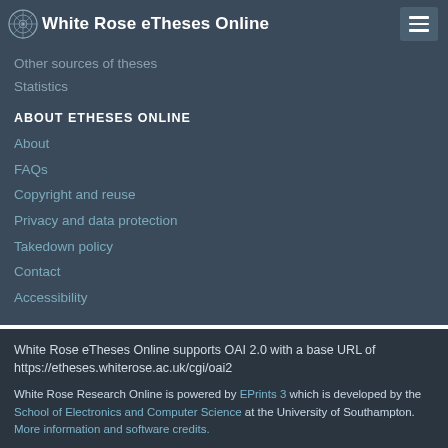White Rose eTheses Online
Other sources of theses
Statistics
ABOUT ETHESES ONLINE
About
FAQs
Copyright and reuse
Privacy and data protection
Takedown policy
Contact
Accessibility
White Rose eTheses Online supports OAI 2.0 with a base URL of https://etheses.whiterose.ac.uk/cgi/oai2
White Rose Research Online is powered by EPrints 3 which is developed by the School of Electronics and Computer Science at the University of Southampton. More information and software credits.